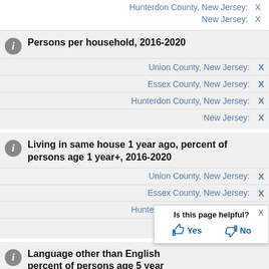Hunterdon County, New Jersey: X
New Jersey: X
Persons per household, 2016-2020
Union County, New Jersey: X
Essex County, New Jersey: X
Hunterdon County, New Jersey: X
New Jersey: X
Living in same house 1 year ago, percent of persons age 1 year+, 2016-2020
Union County, New Jersey: X
Essex County, New Jersey: X
Hunterdon County, New Jersey: X
New Jersey: X
Language other than English percent of persons age 5 year+